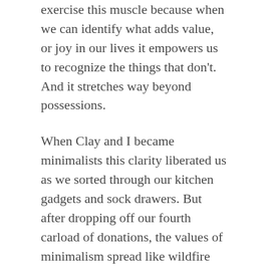exercise this muscle because when we can identify what adds value, or joy in our lives it empowers us to recognize the things that don't. And it stretches way beyond possessions.
When Clay and I became minimalists this clarity liberated us as we sorted through our kitchen gadgets and sock drawers. But after dropping off our fourth carload of donations, the values of minimalism spread like wildfire and lit up every nook and cranny of our lives.
We started thinking more critically about the life we wanted and started working towards that. As a result, Clay lost 45 pounds, cured his plantar fasciitis, and reversed the majority of his asthma. Our savings account flourished and we are now 97% debt free (a